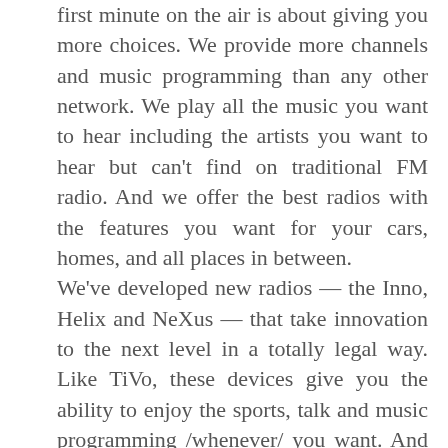first minute on the air is about giving you more choices. We provide more channels and music programming than any other network. We play all the music you want to hear including the artists you want to hear but can't find on traditional FM radio. And we offer the best radios with the features you want for your cars, homes, and all places in between. We've developed new radios — the Inno, Helix and NeXus — that take innovation to the next level in a totally legal way. Like TiVo, these devices give you the ability to enjoy the sports, talk and music programming /whenever/ you want. And because they are portable, you can enjoy XM /wherever/ you want. The music industry wants to stop your ability to choose when and where you can listen. Their lawyers have filed a meritless lawsuit to try and stop you from